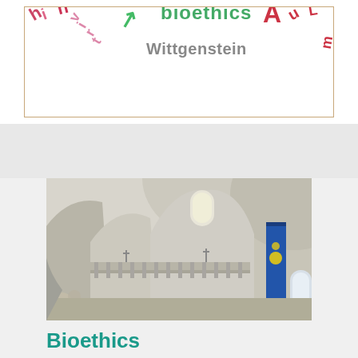[Figure (infographic): Word cloud with terms related to bioethics and philosophy, including 'bioethics', 'Wittgenstein', 'virtue', and other partially visible words in pink, green, and red colors, inside a bordered box.]
[Figure (photo): Interior of a church or cathedral showing ornate white baroque architecture, arched ceilings, a decorative balustrade/balcony, and a blue banner hanging on the right side.]
Bioethics
This virtual issue, edited by Piotr Grzegorz Nowak, features important papers from the